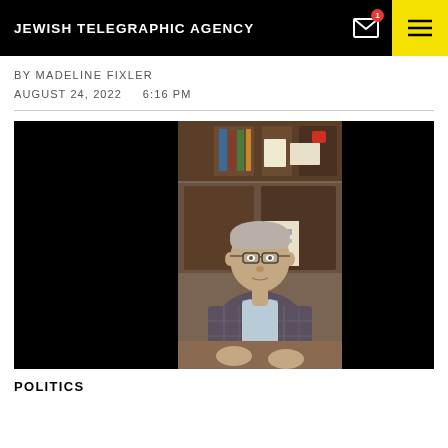JEWISH TELEGRAPHIC AGENCY
BY MADELINE FIXLER
AUGUST 24, 2022    6:16 PM
[Figure (photo): A man in a plaid blazer and glasses sitting at a desk in an office with bookshelves and cabinets visible in the background. The photo is centered on a black background creating a letterbox/pillarbox effect.]
POLITICS